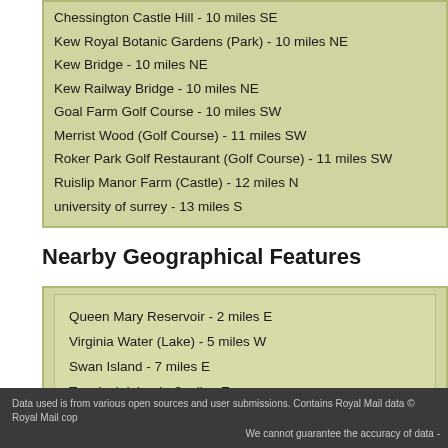Chessington Castle Hill - 10 miles SE
Kew Royal Botanic Gardens (Park) - 10 miles NE
Kew Bridge - 10 miles NE
Kew Railway Bridge - 10 miles NE
Goal Farm Golf Course - 10 miles SW
Merrist Wood (Golf Course) - 11 miles SW
Roker Park Golf Restaurant (Golf Course) - 11 miles SW
Ruislip Manor Farm (Castle) - 12 miles N
university of surrey - 13 miles S
Nearby Geographical Features
Queen Mary Reservoir - 2 miles E
Virginia Water (Lake) - 5 miles W
Swan Island - 7 miles E
Trowlock Island - 8 miles E
Eton Dorney (Lake) - 9 miles NW
North Downs (Hill) - 10 miles S
Data used is from various open sources and user submissions. Contains Royal Mail data © Royal Mail cop  We cannot guarantee the accuracy of data -